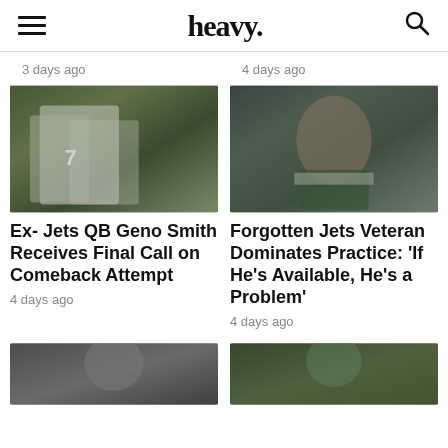heavy.
3 days ago
4 days ago
[Figure (photo): Two New York Jets football players in green uniforms on the sideline, one wearing number 7]
Ex- Jets QB Geno Smith Receives Final Call on Comeback Attempt
4 days ago
[Figure (photo): New York Jets veteran football player in green uniform looking to the side]
Forgotten Jets Veteran Dominates Practice: ‘If He’s Available, He’s a Problem’
4 days ago
[Figure (photo): Partial view of football player, bottom of page]
[Figure (photo): Partial view of football player in green Jets uniform, bottom of page]